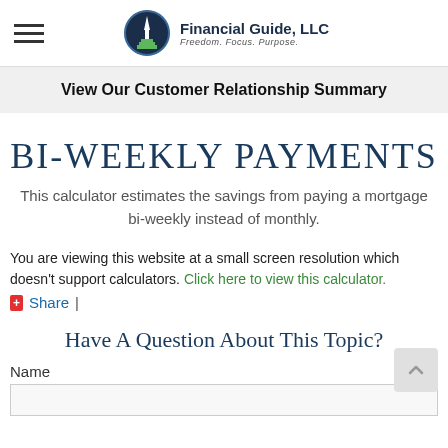Financial Guide, LLC – Freedom. Focus. Purpose.
View Our Customer Relationship Summary
BI-WEEKLY PAYMENTS
This calculator estimates the savings from paying a mortgage bi-weekly instead of monthly.
You are viewing this website at a small screen resolution which doesn't support calculators. Click here to view this calculator.
Share |
Have A Question About This Topic?
Name